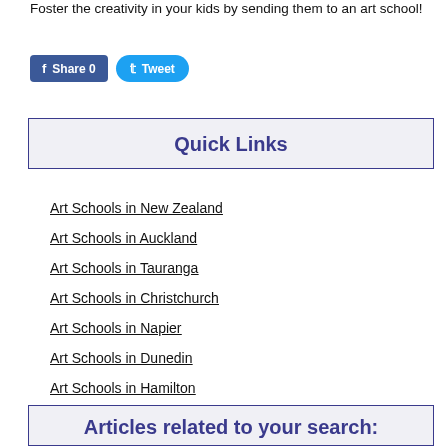Foster the creativity in your kids by sending them to an art school!
[Figure (screenshot): Social media sharing buttons: Facebook Share 0 and Twitter Tweet]
Quick Links
Art Schools in New Zealand
Art Schools in Auckland
Art Schools in Tauranga
Art Schools in Christchurch
Art Schools in Napier
Art Schools in Dunedin
Art Schools in Hamilton
Art Schools in Wellington
Articles related to your search: